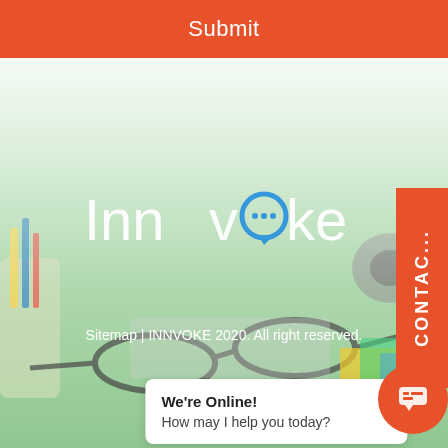Submit
[Figure (screenshot): Innvoke website screenshot showing a green-tinted desk background with glasses, stationery, and the Innvoke logo with a speech bubble replacing the 'o']
Sitemap | INNVOKE 2020. All right reserved.
CONTACT
We're Online!
How may I help you today?